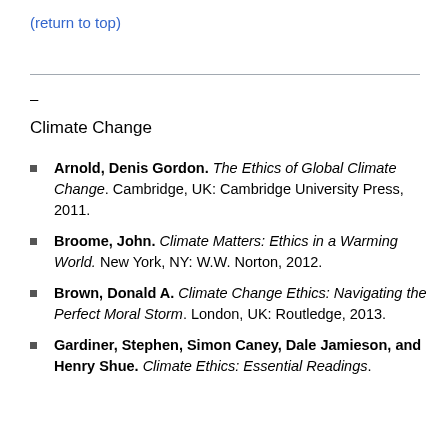(return to top)
–
Climate Change
Arnold, Denis Gordon. The Ethics of Global Climate Change. Cambridge, UK: Cambridge University Press, 2011.
Broome, John. Climate Matters: Ethics in a Warming World. New York, NY: W.W. Norton, 2012.
Brown, Donald A. Climate Change Ethics: Navigating the Perfect Moral Storm. London, UK: Routledge, 2013.
Gardiner, Stephen, Simon Caney, Dale Jamieson, and Henry Shue. Climate Ethics: Essential Readings.